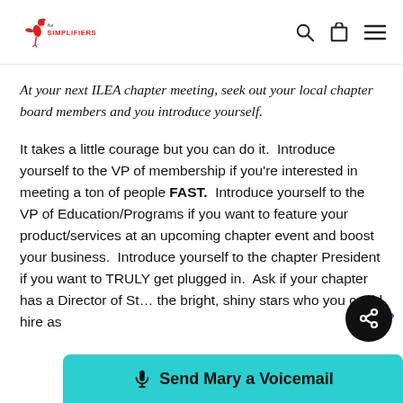The Simplifiers [logo] [search] [cart] [menu]
At your next ILEA chapter meeting, seek out your local chapter board members and you introduce yourself.
It takes a little courage but you can do it.  Introduce yourself to the VP of membership if you're interested in meeting a ton of people FAST.  Introduce yourself to the VP of Education/Programs if you want to feature your product/services at an upcoming chapter event and boost your business.  Introduce yourself to the chapter President if you want to TRULY get plugged in.  Ask if your chapter has a Director of St... the bright, shiny stars who you could hire as